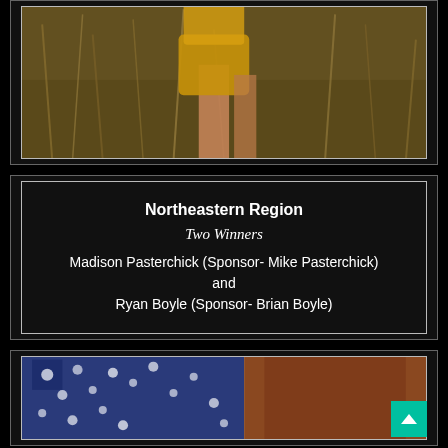[Figure (photo): Photo of a person in a yellow/golden outfit standing in tall grassy field, showing lower half of body]
Northeastern Region
Two Winners
Madison Pasterchick (Sponsor- Mike Pasterchick) and
Ryan Boyle (Sponsor- Brian Boyle)
[Figure (photo): Partial photo at bottom showing what appears to be a flag or patterned fabric in blue/white and brown/orange tones]